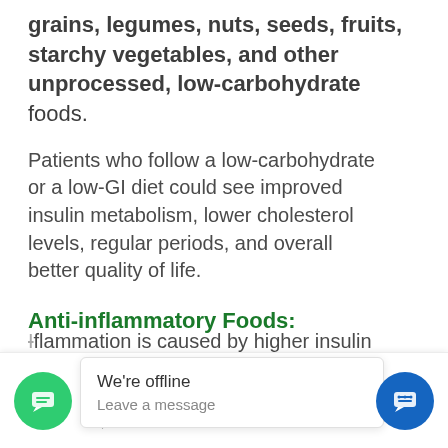grains, legumes, nuts, seeds, fruits, starchy vegetables, and other unprocessed, low-carbohydrate foods.
Patients who follow a low-carbohydrate or a low-GI diet could see improved insulin metabolism, lower cholesterol levels, regular periods, and overall better quality of life.
Anti-inflammatory Foods:
Inflammation is caused by higher insulin levels, ...